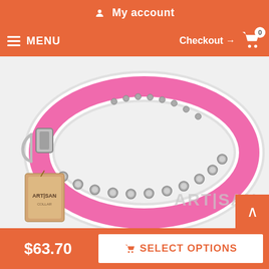My account
MENU  Checkout → 0
[Figure (photo): Pink leather dog collar with silver stud decorations and white lining, displayed with an Artisan brand tag. The collar has a metal buckle and multiple round silver conchos along the pink leather band.]
$63.70
SELECT OPTIONS